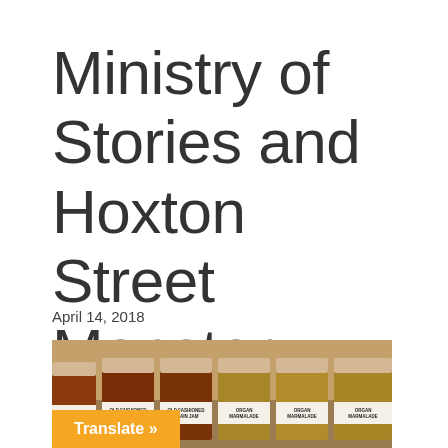Ministry of Stories and Hoxton Street Monster Supplies
April 14, 2018
[Figure (photo): A row of jam and marmalade jars on a shelf, with white cloth covers and labels reading 'OLD FASHIONED JAM', 'OLD FASHIONED BRAIN JAM', 'ORGAN MARMALADE']
Translate »